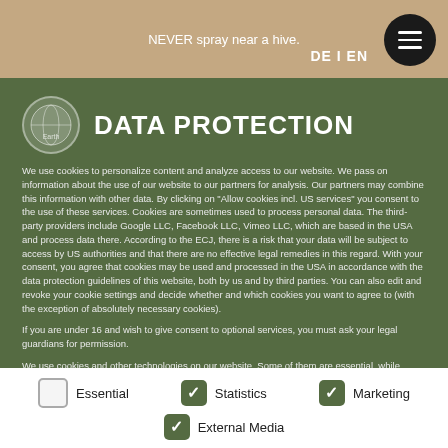NEVER spray near a hive.
DE I EN
DATA PROTECTION
We use cookies to personalize content and analyze access to our website. We pass on information about the use of our website to our partners for analysis. Our partners may combine this information with other data. By clicking on "Allow cookies incl. US services" you consent to the use of these services. Cookies are sometimes used to process personal data. The third-party providers include Google LLC, Facebook LLC, Vimeo LLC, which are based in the USA and process data there. According to the ECJ, there is a risk that your data will be subject to access by US authorities and that there are no effective legal remedies in this regard. With your consent, you agree that cookies may be used and processed in the USA in accordance with the data protection guidelines of this website, both by us and by third parties. You can also edit and revoke your cookie settings and decide whether and which cookies you want to agree to (with the exception of absolutely necessary cookies).
If you are under 16 and wish to give consent to optional services, you must ask your legal guardians for permission.
We use cookies and other technologies on our website. Some of them are essential, while others help us to improve this website and your experience. Personal data may be processed (e.g. IP addresses), for example for personalized ads and content and ad and content measurement. You...
Essential
Statistics
Marketing
External Media